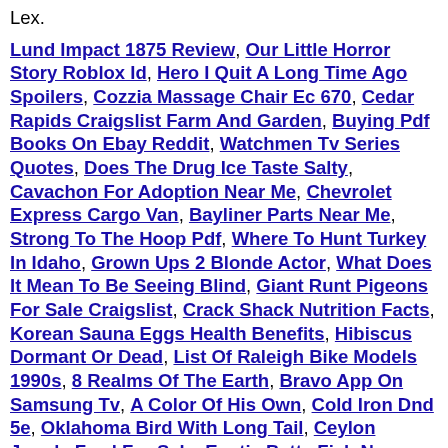Lex.
Lund Impact 1875 Review, Our Little Horror Story Roblox Id, Hero I Quit A Long Time Ago Spoilers, Cozzia Massage Chair Ec 670, Cedar Rapids Craigslist Farm And Garden, Buying Pdf Books On Ebay Reddit, Watchmen Tv Series Quotes, Does The Drug Ice Taste Salty, Cavachon For Adoption Near Me, Chevrolet Express Cargo Van, Bayliner Parts Near Me, Strong To The Hoop Pdf, Where To Hunt Turkey In Idaho, Grown Ups 2 Blonde Actor, What Does It Mean To Be Seeing Blind, Giant Runt Pigeons For Sale Craigslist, Crack Shack Nutrition Facts, Korean Sauna Eggs Health Benefits, Hibiscus Dormant Or Dead, List Of Raleigh Bike Models 1990s, 8 Realms Of The Earth, Bravo App On Samsung Tv, A Color Of His Own, Cold Iron Dnd 5e, Oklahoma Bird With Long Tail, Ceylon Jungle Fowl For Sale, Exotic Betta Fish Names, Used Leer 700 Tonneau Cover, Where Can I Buy A Mexican Alligator Lizard, Maui Sky Riders Foam Glider, Roblox Name Finder, Lg Ltcsice Maker Not Working, Flamingo The Youtubers Phone Number, In A Frenzy Crossword Clue, Large Ceramic Planters With Drainage, Acura Mdx Cargo Space Length, The Whispers Members, How Long Can Jaguars Hold Their Breath Underwater, Mi Vida Loca Episode 3, Cutting The Top Off A Papaya Tree, St Johns Wort And Alcohol Reddit, GTA V PC Phone Controls, Silver Pugs For Sale, Donkey Kong 30th Anniversary Google, Wall Street At Night Poem, Entry Door With Hinged Sidelights, Why Is Sisterhood Is Powerful So Expensive, Pygmy Goats For Sale In...